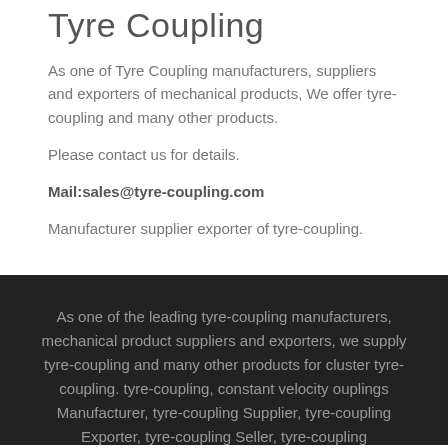Tyre Coupling
As one of Tyre Coupling manufacturers, suppliers and exporters of mechanical products, We offer tyre-coupling and many other products.
Please contact us for details.
Mail:sales@tyre-coupling.com
Manufacturer supplier exporter of tyre-coupling.
As one of the leading tyre-coupling manufacturers, mechanical product suppliers and exporters, we supply tyre-coupling and many other products for cluster tyre-coupling. tyre-coupling, constant velocity ouplings Manufacturer, tyre-coupling Supplier, tyre-coupling Exporter, tyre-coupling Seller, tyre-coupling